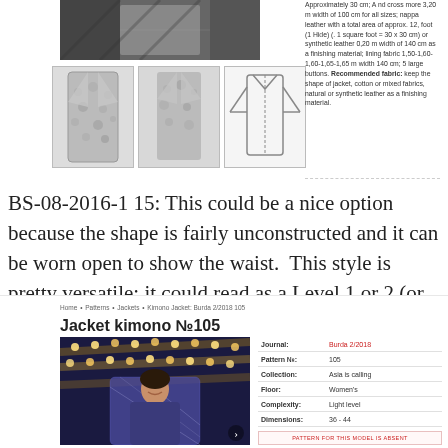[Figure (photo): Top image of a jacket being worn, dark background]
[Figure (photo): Three thumbnail images of a snake-print jacket: front view, angled view, and a schematic/sketch pattern view]
Approximately 30 cm; A nd cross more 3,20 m width of 100 cm for all sizes; nappa leather with a total area of approx. 12, foot (1 Hide) (. 1 square foot = 30 x 30 cm) or synthetic leather 0,20 m width of 140 cm as a finishing material; lining fabric 1,50-1,60-1,60-1,65-1,65 m width 140 cm; 5 large buttons. Recommended fabric: keep the shape of jacket, cotton or mixed fabrics, natural or synthetic leather as a finishing material.
BS-08-2016-115: This could be a nice option because the shape is fairly unconstructed and it can be worn open to show the waist.  This style is pretty versatile; it could read as a Level 1 or 2 (or even 3) depending on styling and fabrication.
Home • Patterns • Jackets • Kimono Jacket: Burda 2/2018 105
Jacket kimono №105
[Figure (photo): Woman wearing a blue/purple patterned kimono jacket, standing in front of a lit ceiling with round lights]
| Field | Value |
| --- | --- |
| Journal: | Burda 2/2018 |
| Pattern №: | 105 |
| Collection: | Asia is calling |
| Floor: | Women's |
| Complexity: | Light level |
| Dimensions: | 36 - 44 |
PATTERN FOR THIS MODEL IS ABSENT